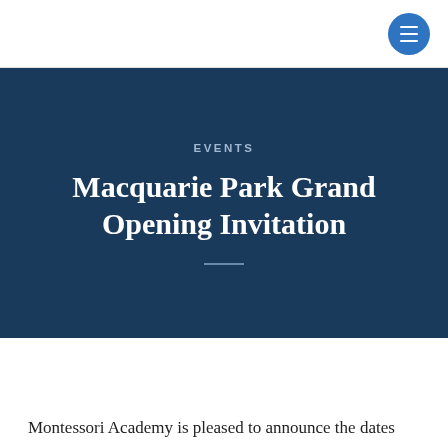EVENTS
Macquarie Park Grand Opening Invitation
Montessori Academy is pleased to announce the dates